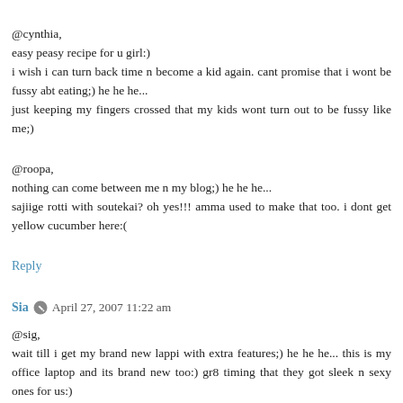@cynthia,
easy peasy recipe for u girl:)
i wish i can turn back time n become a kid again. cant promise that i wont be fussy abt eating;) he he he...
just keeping my fingers crossed that my kids wont turn out to be fussy like me;)
@roopa,
nothing can come between me n my blog;) he he he...
sajiige rotti with soutekai? oh yes!!! amma used to make that too. i dont get yellow cucumber here:(
Reply
Sia — April 27, 2007 11:22 am
@sig,
wait till i get my brand new lappi with extra features;) he he he... this is my office laptop and its brand new too:) gr8 timing that they got sleek n sexy ones for us:)
this is not like the lacy rava dosa. we make dosas using some little things better than n super crispy and brown